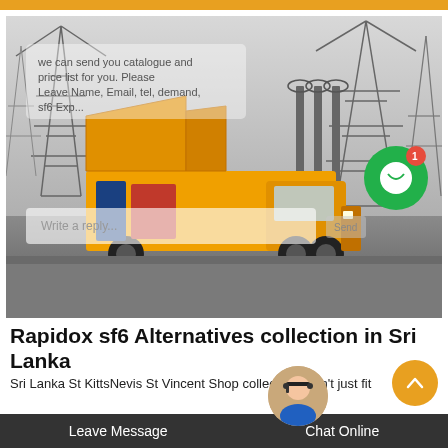[Figure (photo): Yellow Isuzu utility service truck with open side panels parked at an electrical substation with large transmission towers in the background. A chat overlay is visible on the image with message interface elements and a green chat button with notification badge showing '1'.]
Rapidox sf6 Alternatives collection in Sri Lanka
Leave Message    Chat Online
Sri Lanka St KittsNevis St Vincent Shop collection. Don't just fit